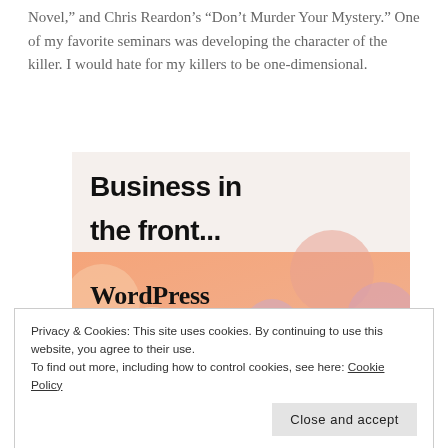Novel," and Chris Reardon's "Don't Murder Your Mystery." One of my favorite seminars was developing the character of the killer. I would hate for my killers to be one-dimensional.
[Figure (illustration): Advertisement image: top half shows 'Business in the front...' text on light background, bottom half shows 'WordPress in the back.' text on orange/peach gradient background with colorful circles.]
Privacy & Cookies: This site uses cookies. By continuing to use this website, you agree to their use.
To find out more, including how to control cookies, see here: Cookie Policy
Close and accept
How hard is it to write about food?